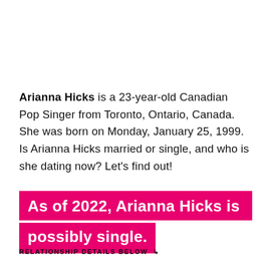Arianna Hicks is a 23-year-old Canadian Pop Singer from Toronto, Ontario, Canada. She was born on Monday, January 25, 1999. Is Arianna Hicks married or single, and who is she dating now? Let's find out!
As of 2022, Arianna Hicks is possibly single.
RELATIONSHIP DETAILS BELOW ↳